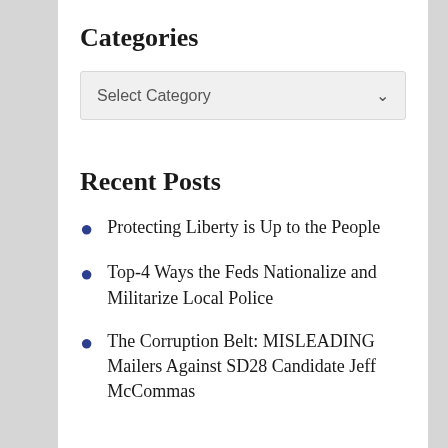Categories
[Figure (screenshot): A dropdown select box with placeholder text 'Select Category' and a chevron/arrow icon on the right, with light gray background.]
Recent Posts
Protecting Liberty is Up to the People
Top-4 Ways the Feds Nationalize and Militarize Local Police
The Corruption Belt: MISLEADING Mailers Against SD28 Candidate Jeff McCommas